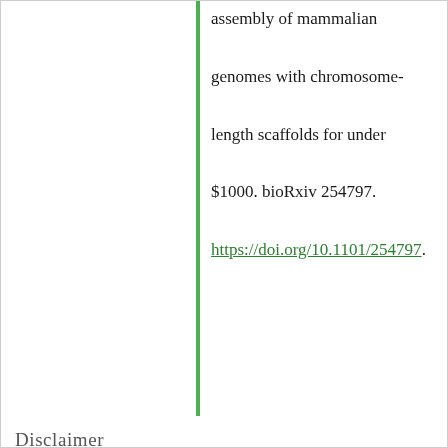assembly of mammalian genomes with chromosome-length scaffolds for under $1000. bioRxiv 254797. https://doi.org/10.1101/254797.
Disclaimer
This is a work in progress. If you notice any discrepancies in the map or have data that confirms or contradicts the suggested reference, please email us at thednazoo@gmail.com or leave a comment on the Forum.